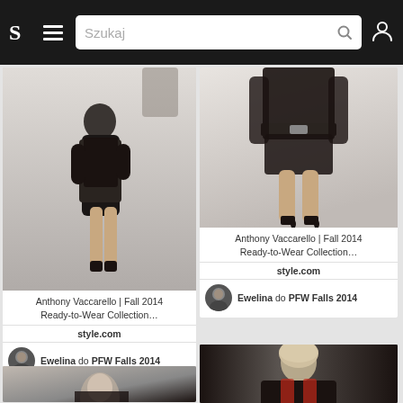[Figure (screenshot): Mobile app navigation bar with logo S, hamburger menu, search bar with placeholder 'Szukaj', and user icon on dark background]
[Figure (photo): Fashion model wearing black leather jacket, black mini skirt, sheer top on runway - Anthony Vaccarello Fall 2014]
Anthony Vaccarello | Fall 2014 Ready-to-Wear Collection…
style.com
Ewelina do PFW Falls 2014
[Figure (photo): Fashion model wearing black coat and dark outfit showing legs on runway - Anthony Vaccarello Fall 2014]
Anthony Vaccarello | Fall 2014 Ready-to-Wear Collection…
style.com
Ewelina do PFW Falls 2014
[Figure (photo): Fashion model in black leather jacket partially visible at bottom left]
[Figure (photo): Fashion model in black leather jacket at bottom right]